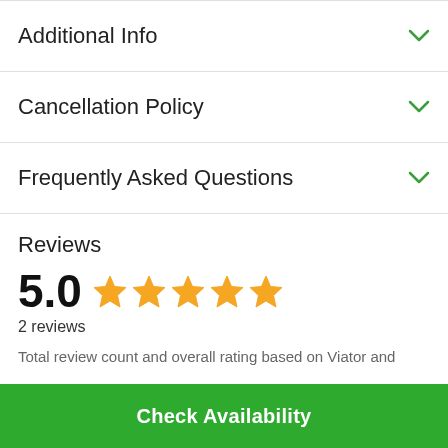Additional Info
Cancellation Policy
Frequently Asked Questions
Reviews
5.0  ★★★★★
2 reviews
Total review count and overall rating based on Viator and
Check Availability